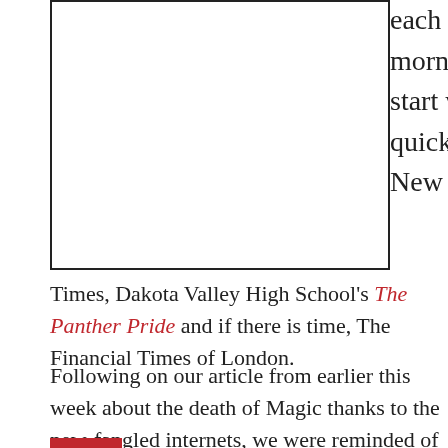[Figure (other): Empty rectangular box, likely placeholder for an image]
each morning and start with a quick read of New York
Times, Dakota Valley High School's The Panther Pride and if there is time, The Financial Times of London.
Following on our article from earlier this week about the death of Magic thanks to the new-fangled internets, we were reminded of Magic's resilience against any technological